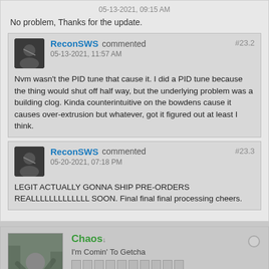05-13-2021, 09:15 AM
No problem, Thanks for the update.
ReconSWS commented #23.2 05-13-2021, 11:57 AM
Nvm wasn't the PID tune that cause it. I did a PID tune because the thing would shut off half way, but the underlying problem was a building clog. Kinda counterintuitive on the bowdens cause it causes over-extrusion but whatever, got it figured out at least I think.
ReconSWS commented #23.3 05-20-2021, 07:18 PM
LEGIT ACTUALLY GONNA SHIP PRE-ORDERS REALLLLLLLLLLLLL SOON. Final final final processing cheers.
Chaos I'm Comin' To Getcha Join Date: Jul 2020 Posts: 325 Location:
06-03-2021, 08:39 PM #24